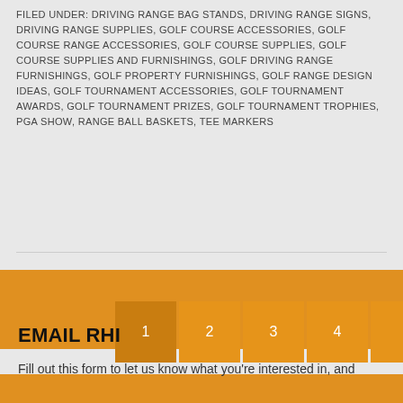FILED UNDER: DRIVING RANGE BAG STANDS, DRIVING RANGE SIGNS, DRIVING RANGE SUPPLIES, GOLF COURSE ACCESSORIES, GOLF COURSE RANGE ACCESSORIES, GOLF COURSE SUPPLIES, GOLF COURSE SUPPLIES AND FURNISHINGS, GOLF DRIVING RANGE FURNISHINGS, GOLF PROPERTY FURNISHINGS, GOLF RANGE DESIGN IDEAS, GOLF TOURNAMENT ACCESSORIES, GOLF TOURNAMENT AWARDS, GOLF TOURNAMENT PRIZES, GOLF TOURNAMENT TROPHIES, PGA SHOW, RANGE BALL BASKETS, TEE MARKERS
1
2
3
4
Next Page »
EMAIL RHI
Fill out this form to let us know what you're interested in, and